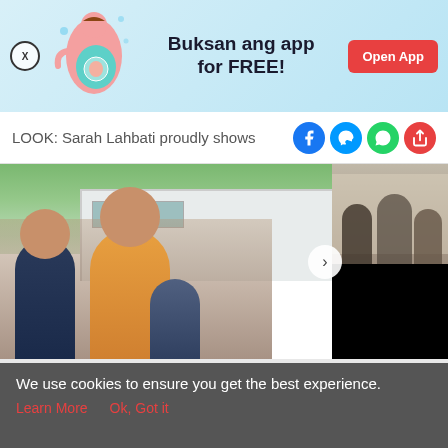[Figure (screenshot): App promotion banner with pregnant woman illustration, 'Buksan ang app for FREE!' text, and red Open App button]
LOOK: Sarah Lahbati proudly shows
[Figure (photo): Two photos side by side: left shows a woman with children outdoors near a white building, right shows a group of people indoors (top) and a black panel (bottom)]
[Figure (screenshot): Bottom navigation bar with Tools, Articles, center pregnancy app icon, Feed, and Poll icons]
We use cookies to ensure you get the best experience.
Learn More   Ok, Got it